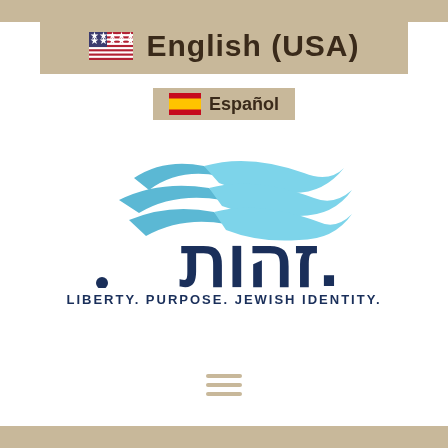[Figure (logo): English (USA) navigation button with US flag icon, tan/beige background, dark brown bold text]
[Figure (logo): Español navigation button with Spanish flag icon, tan/beige background, dark brown bold text]
[Figure (logo): Zehut party logo: blue wave/wing swoosh graphic above Hebrew text זהות in dark navy, with tagline LIBERTY. PURPOSE. JEWISH IDENTITY.]
[Figure (other): Three horizontal hamburger menu lines in tan/beige color]